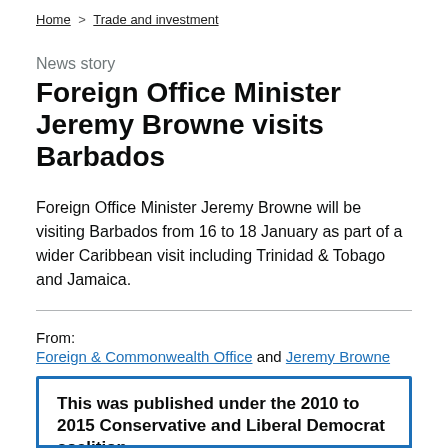Home > Trade and investment
News story
Foreign Office Minister Jeremy Browne visits Barbados
Foreign Office Minister Jeremy Browne will be visiting Barbados from 16 to 18 January as part of a wider Caribbean visit including Trinidad & Tobago and Jamaica.
From: Foreign & Commonwealth Office and Jeremy Browne
Published
14 January 2011
This was published under the 2010 to 2015 Conservative and Liberal Democrat coalition